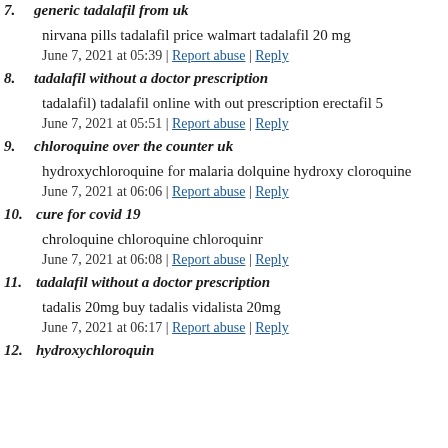7. generic tadalafil from uk
nirvana pills tadalafil price walmart tadalafil 20 mg
June 7, 2021 at 05:39 | Report abuse | Reply
8. tadalafil without a doctor prescription
tadalafil) tadalafil online with out prescription erectafil 5
June 7, 2021 at 05:51 | Report abuse | Reply
9. chloroquine over the counter uk
hydroxychloroquine for malaria dolquine hydroxy cloroquine
June 7, 2021 at 06:06 | Report abuse | Reply
10. cure for covid 19
chroloquine chloroquine chloroquinr
June 7, 2021 at 06:08 | Report abuse | Reply
11. tadalafil without a doctor prescription
tadalis 20mg buy tadalis vidalista 20mg
June 7, 2021 at 06:17 | Report abuse | Reply
12. hydroxychloroquin